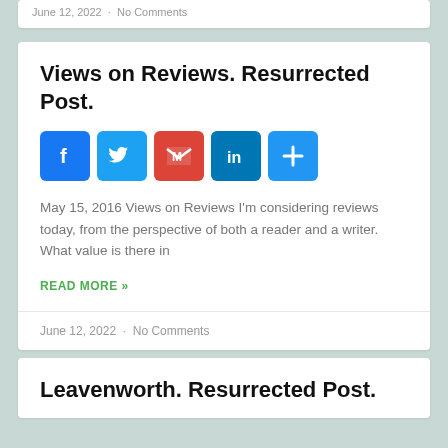June 12, 2022  ·  No Comments
Views on Reviews. Resurrected Post.
[Figure (infographic): Social share icons: Facebook (blue), Twitter (light blue), Gmail (red/white), LinkedIn (dark teal), More/Plus (blue)]
May 15, 2016 Views on Reviews I'm considering reviews today, from the perspective of both a reader and a writer. What value is there in
READ MORE »
June 12, 2022  ·  No Comments
Leavenworth. Resurrected Post.